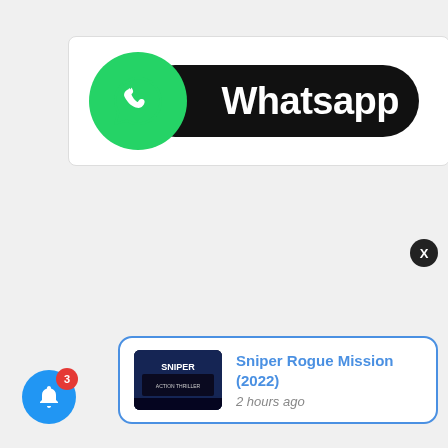[Figure (logo): WhatsApp logo banner with green circle icon and white phone handset, black pill-shaped background with 'Whatsapp' text in white]
[Figure (screenshot): Notification popup showing movie 'Sniper Rogue Mission (2022)' with movie poster thumbnail and '2 hours ago' timestamp, with a blue close X button and blue bell notification button with red badge showing 3]